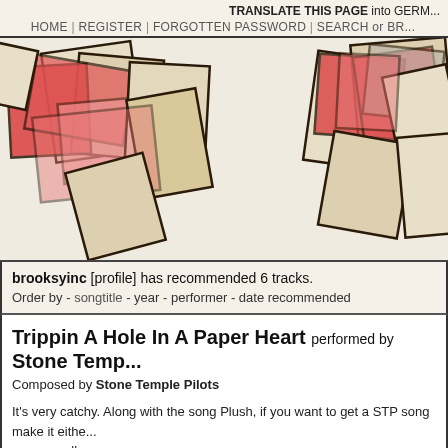TRANSLATE THIS PAGE into GERM... HOME | REGISTER | FORGOTTEN PASSWORD | SEARCH or BR...
[Figure (illustration): Decorative banner with overlapping rectangles in cream, red, and pink colors on a light background]
brooksyinc [profile] has recommended 6 tracks.
Order by - songtitle - year - performer - date recommended
Trippin A Hole In A Paper Heart performed by Stone Temp...
Composed by Stone Temple Pilots
It's very catchy. Along with the song Plush, if you want to get a STP song make it eithe... one as well.
from Thank You: The Best Of...